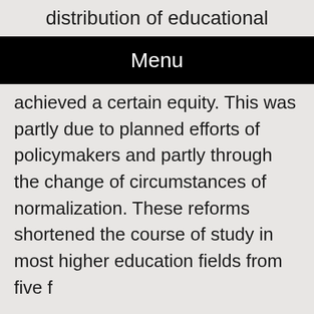distribution of educational
Menu
achieved a certain equity. This was partly due to planned efforts of policymakers and partly through the change of circumstances of normalization. These reforms shortened the course of study in most higher education fields from five to f…